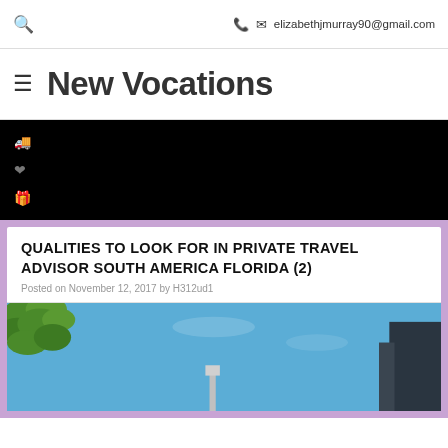elizabethjmurray90@gmail.com
New Vocations
[Figure (screenshot): Black navigation bar with truck, heart, and gift icons on the left side]
QUALITIES TO LOOK FOR IN PRIVATE TRAVEL ADVISOR SOUTH AMERICA FLORIDA (2)
Posted on November 12, 2017 by H312ud1
[Figure (photo): Blue sky with green tree leaves top left and dark building on right side, tower in center]